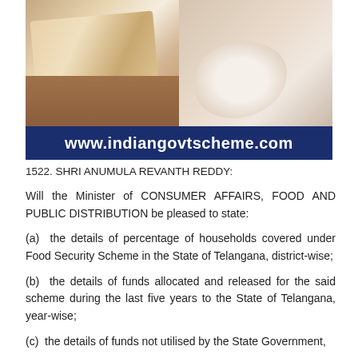[Figure (photo): Two photos side by side showing rice grains — left shows loose rice on a surface, right shows hands cupping rice grains. Below the photos is a dark blue banner with the website www.indiangovtscheme.com in white bold text.]
1522. SHRI ANUMULA REVANTH REDDY:
Will the Minister of CONSUMER AFFAIRS, FOOD AND PUBLIC DISTRIBUTION be pleased to state:
(a) the details of percentage of households covered under Food Security Scheme in the State of Telangana, district-wise;
(b) the details of funds allocated and released for the said scheme during the last five years to the State of Telangana, year-wise;
(c) the details of funds not utilised by the State Government,